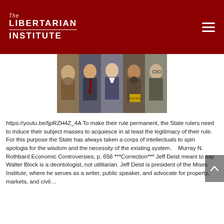The Libertarian Institute
[Figure (photo): A photo strip collage of several historical and contemporary figures side by side]
https://youtu.be/ljpRZH4Z_4A To make their rule permanent, the State rulers need to induce their subject masses to acquiesce in at least the legitimacy of their rule. For this purpose the State has always taken a corps of intellectuals to spin apologia for the wisdom and the necessity of the existing system.   Murray N. Rothbard Economic Controversies, p. 656 ***Correction*** Jeff Deist meant to say Walter Block is a deontologist, not utilitarian. Jeff Deist is president of the Mises Institute, where he serves as a writer, public speaker, and advocate for property, markets, and civil…